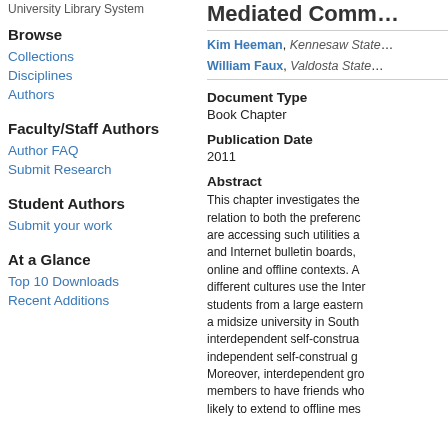University Library System
Browse
Collections
Disciplines
Authors
Faculty/Staff Authors
Author FAQ
Submit Research
Student Authors
Submit your work
At a Glance
Top 10 Downloads
Recent Additions
Mediated Comm...
Kim Heeman, Kennesaw State... William Faux, Valdosta State...
Document Type
Book Chapter
Publication Date
2011
Abstract
This chapter investigates the relation to both the preference are accessing such utilities a and Internet bulletin boards, online and offline contexts. A different cultures use the Inter students from a large eastern a midsize university in South interdependent self-construa independent self-construal g Moreover, interdependent gro members to have friends who likely to extend to offline mes